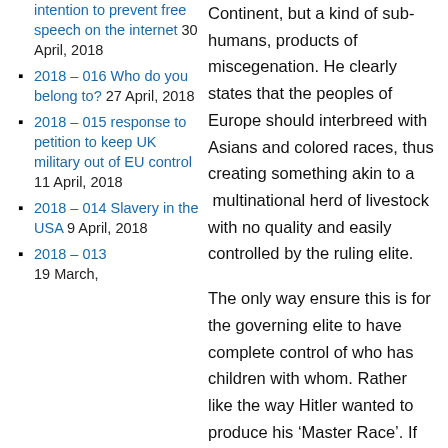intention to prevent free speech on the internet 30 April, 2018
2018 – 016 Who do you belong to? 27 April, 2018
2018 – 015 response to petition to keep UK military out of EU control 11 April, 2018
2018 – 014 Slavery in the USA 9 April, 2018
2018 – 013 19 March,
Continent, but a kind of sub-humans, products of miscegenation. He clearly states that the peoples of Europe should interbreed with Asians and colored races, thus creating something akin to a multinational herd of livestock with no quality and easily controlled by the ruling elite.
The only way ensure this is for the governing elite to have complete control of who has children with whom. Rather like the way Hitler wanted to produce his ‘Master Race’. If you wish to wed a person from a different ‘race’ that is entirely your decision. Not to be told with whom you can have children by an